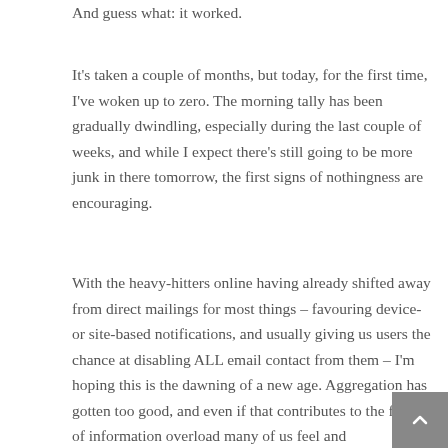And guess what: it worked.
It's taken a couple of months, but today, for the first time, I've woken up to zero. The morning tally has been gradually dwindling, especially during the last couple of weeks, and while I expect there's still going to be more junk in there tomorrow, the first signs of nothingness are encouraging.
With the heavy-hitters online having already shifted away from direct mailings for most things – favouring device- or site-based notifications, and usually giving us users the chance at disabling ALL email contact from them – I'm hoping this is the dawning of a new age. Aggregation has gotten too good, and even if that contributes to the feeling of information overload many of us feel and